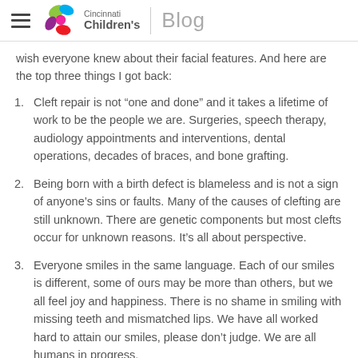Cincinnati Children's Blog
wish everyone knew about their facial features. And here are the top three things I got back:
Cleft repair is not “one and done” and it takes a lifetime of work to be the people we are. Surgeries, speech therapy, audiology appointments and interventions, dental operations, decades of braces, and bone grafting.
Being born with a birth defect is blameless and is not a sign of anyone’s sins or faults. Many of the causes of clefting are still unknown. There are genetic components but most clefts occur for unknown reasons. It’s all about perspective.
Everyone smiles in the same language. Each of our smiles is different, some of ours may be more than others, but we all feel joy and happiness. There is no shame in smiling with missing teeth and mismatched lips. We have all worked hard to attain our smiles, please don’t judge. We are all humans in progress.